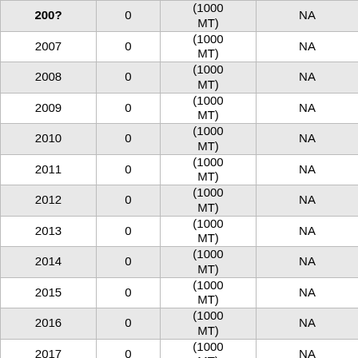| Year | Value | Unit | Note |
| --- | --- | --- | --- |
| 2007 | 0 | (1000 MT) | NA |
| 2008 | 0 | (1000 MT) | NA |
| 2009 | 0 | (1000 MT) | NA |
| 2010 | 0 | (1000 MT) | NA |
| 2011 | 0 | (1000 MT) | NA |
| 2012 | 0 | (1000 MT) | NA |
| 2013 | 0 | (1000 MT) | NA |
| 2014 | 0 | (1000 MT) | NA |
| 2015 | 0 | (1000 MT) | NA |
| 2016 | 0 | (1000 MT) | NA |
| 2017 | 0 | (1000 MT) | NA |